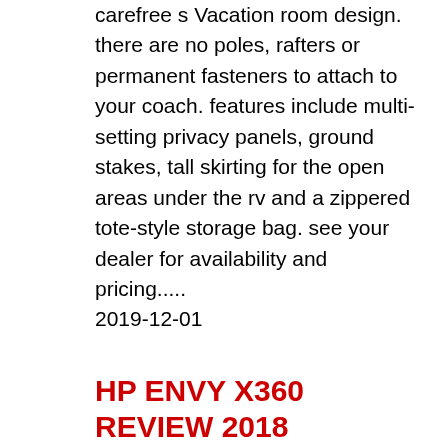carefree s Vacation room design. there are no poles, rafters or permanent fasteners to attach to your coach. features include multi-setting privacy panels, ground stakes, tall skirting for the open areas under the rv and a zippered tote-style storage bag. see your dealer for availability and pricing.....
2019-12-01
HP ENVY X360 REVIEW 2018
Hp envy x2 (2018) cnet. Inside hp has souped up a few things, too. there are several versions available, with slightly different configurations of processors and ram, but we were sent the model with the highest specs, the sexily named hp envy x360 15-bp101na.. 21.09.2018в в· hp envy x360 review: a premium and stylish 13-inch 2-in-1 laptop